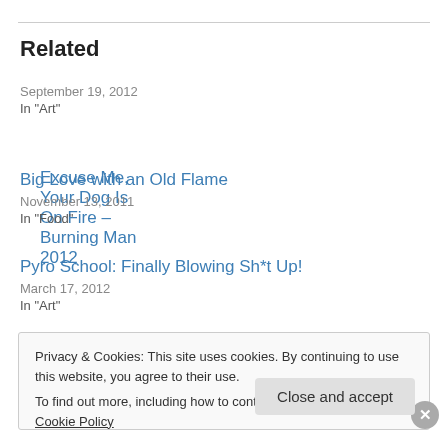Related
Excuse Me, Your Dog Is On Fire – Burning Man 2012
September 19, 2012
In "Art"
Big Love with an Old Flame
November 13, 2011
In "Food"
Pyro School: Finally Blowing Sh*t Up!
March 17, 2012
In "Art"
Privacy & Cookies: This site uses cookies. By continuing to use this website, you agree to their use.
To find out more, including how to control cookies, see here: Cookie Policy